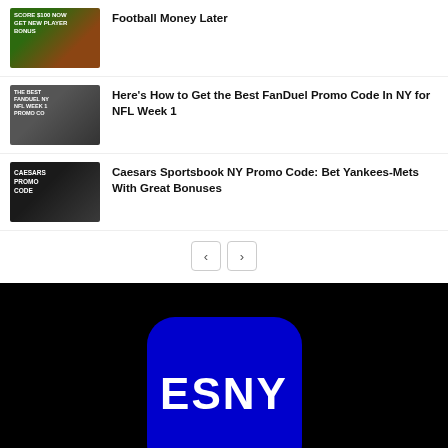[Figure (photo): Thumbnail image with football and text: SCORE $100 NOW GET NEW PLAYER BONUS]
Here's How to Get the Best FanDuel Promo Code In NY for NFL Week 1
[Figure (photo): Thumbnail image: THE BEST FANDUEL NY NFL WEEK 1 PROMO CODE]
Here's How to Get the Best FanDuel Promo Code In NY for NFL Week 1
[Figure (photo): Thumbnail image: CAESARS PROMO CODE]
Caesars Sportsbook NY Promo Code: Bet Yankees-Mets With Great Bonuses
[Figure (logo): ESNY logo - blue rounded rectangle with white text ESNY]